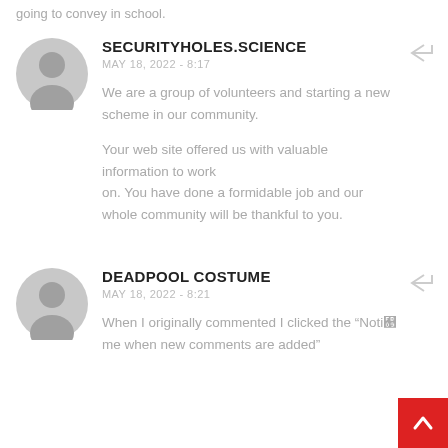going to convey in school.
SECURITYHOLES.SCIENCE
MAY 18, 2022 - 8:17

We are a group of volunteers and starting a new scheme in our community.

Your web site offered us with valuable information to work on. You have done a formidable job and our whole community will be thankful to you.
DEADPOOL COSTUME
MAY 18, 2022 - 8:21

When I originally commented I clicked the “Notify me when new comments are added”